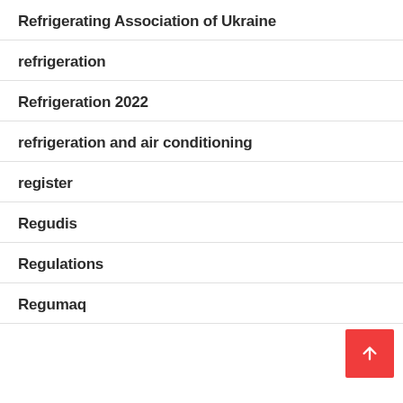Refrigerating Association of Ukraine
refrigeration
Refrigeration 2022
refrigeration and air conditioning
register
Regudis
Regulations
Regumaq